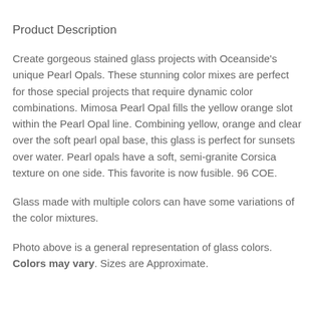Product Description
Create gorgeous stained glass projects with Oceanside's unique Pearl Opals. These stunning color mixes are perfect for those special projects that require dynamic color combinations. Mimosa Pearl Opal fills the yellow orange slot within the Pearl Opal line. Combining yellow, orange and clear over the soft pearl opal base, this glass is perfect for sunsets over water. Pearl opals have a soft, semi-granite Corsica texture on one side. This favorite is now fusible. 96 COE.
Glass made with multiple colors can have some variations of the color mixtures.
Photo above is a general representation of glass colors. Colors may vary. Sizes are Approximate.